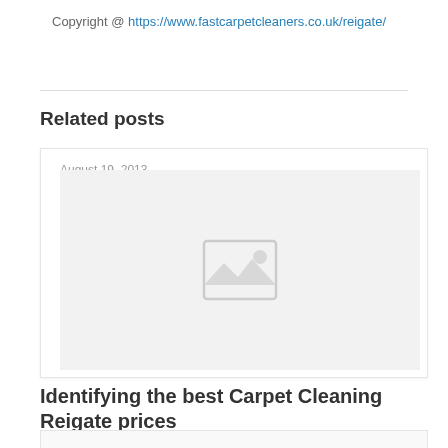Copyright @ https://www.fastcarpetcleaners.co.uk/reigate/
Related posts
[Figure (photo): Related post card with placeholder image dated August 19, 2013]
Identifying the best Carpet Cleaning Reigate prices